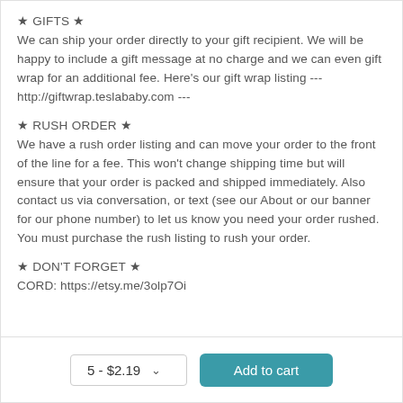★ GIFTS ★
We can ship your order directly to your gift recipient. We will be happy to include a gift message at no charge and we can even gift wrap for an additional fee. Here's our gift wrap listing --- http://giftwrap.teslababy.com ---
★ RUSH ORDER ★
We have a rush order listing and can move your order to the front of the line for a fee. This won't change shipping time but will ensure that your order is packed and shipped immediately. Also contact us via conversation, or text (see our About or our banner for our phone number) to let us know you need your order rushed. You must purchase the rush listing to rush your order.
★ DON'T FORGET ★
CORD: https://etsy.me/3olp7Oi